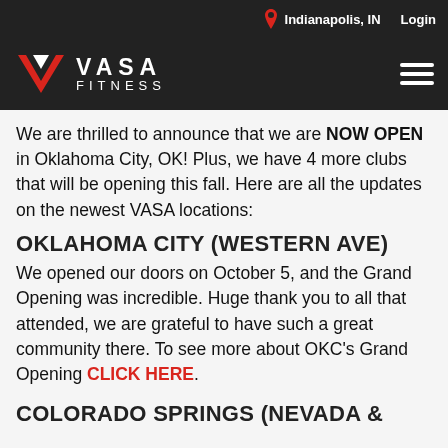Indianapolis, IN   Login
[Figure (logo): VASA FITNESS logo with red V chevron and white text]
We are thrilled to announce that we are NOW OPEN in Oklahoma City, OK! Plus, we have 4 more clubs that will be opening this fall. Here are all the updates on the newest VASA locations:
OKLAHOMA CITY (WESTERN AVE)
We opened our doors on October 5, and the Grand Opening was incredible. Huge thank you to all that attended, we are grateful to have such a great community there. To see more about OKC's Grand Opening CLICK HERE.
COLORADO SPRINGS (NEVADA &